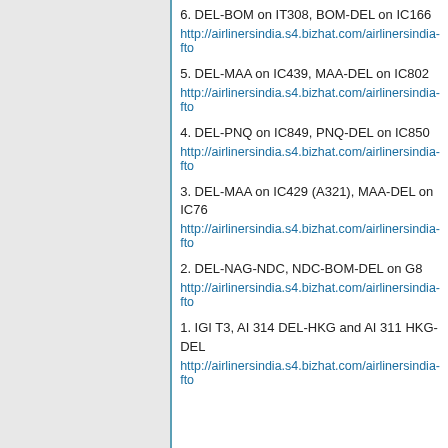6. DEL-BOM on IT308, BOM-DEL on IC166
http://airlinersindia.s4.bizhat.com/airlinersindia-fto
5. DEL-MAA on IC439, MAA-DEL on IC802
http://airlinersindia.s4.bizhat.com/airlinersindia-fto
4. DEL-PNQ on IC849, PNQ-DEL on IC850
http://airlinersindia.s4.bizhat.com/airlinersindia-fto
3. DEL-MAA on IC429 (A321), MAA-DEL on IC760
http://airlinersindia.s4.bizhat.com/airlinersindia-fto
2. DEL-NAG-NDC, NDC-BOM-DEL on G8
http://airlinersindia.s4.bizhat.com/airlinersindia-fto
1. IGI T3, AI 314 DEL-HKG and AI 311 HKG-DEL
http://airlinersindia.s4.bizhat.com/airlinersindia-fto
Back to top
ameya
Member

Joined: 09 May 2007
Posts: 3671
Location: Pune,Maharashtra
Posted: Tue Sep 04, 2012 9:24 am    Post subject:
Another fantastic, foody TR